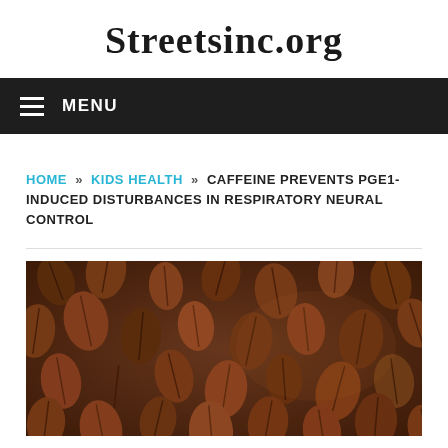Streetsinc.org
MENU
HOME » KIDS HEALTH » CAFFEINE PREVENTS PGE1-INDUCED DISTURBANCES IN RESPIRATORY NEURAL CONTROL
[Figure (photo): Close-up photograph of roasted coffee beans filling the entire frame, in shades of brown, viewed from above]